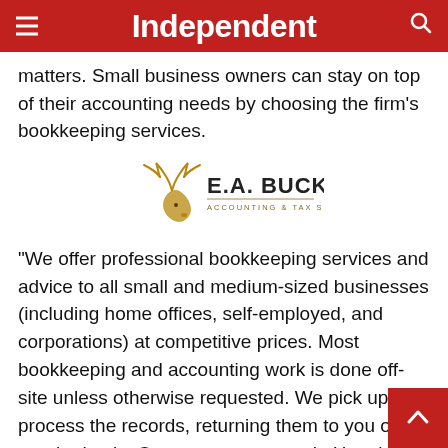Independent
matters. Small business owners can stay on top of their accounting needs by choosing the firm's bookkeeping services.
[Figure (logo): E.A. Buck Accounting & Tax Services logo with a deer illustration]
“We offer professional bookkeeping services and advice to all small and medium-sized businesses (including home offices, self-employed, and corporations) at competitive prices. Most bookkeeping and accounting work is done off-site unless otherwise requested. We pick up and process the records, returning them to you on regular basis. Our tax accountants in Honolulu, Denver, Westminster, and other locations are